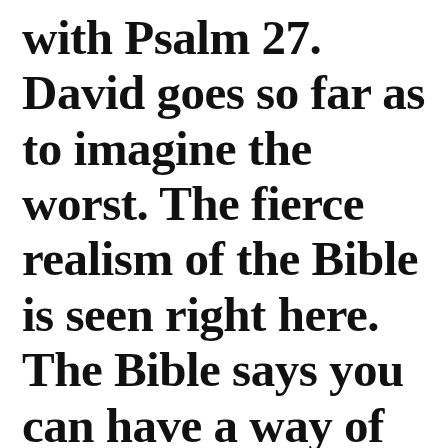with Psalm 27. David goes so far as to imagine the worst. The fierce realism of the Bible is seen right here. The Bible says you can have a way of dealing with anger and with anxiety and fear that